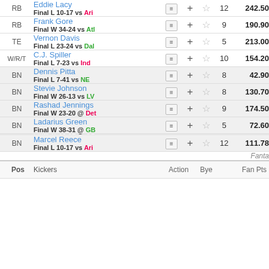| Pos | Player | Action |  | Bye | Fan Pts |
| --- | --- | --- | --- | --- | --- |
| RB | Eddie Lacy / Final L 10-17 vs Ari | ≡ + ☆ |  | 12 | 242.50 |
| RB | Frank Gore / Final W 34-24 vs Atl | ≡ + ☆ |  | 9 | 190.90 |
| TE | Vernon Davis / Final L 23-24 vs Dal | ≡ + ☆ |  | 5 | 213.00 |
| W/R/T | C.J. Spiller / Final L 7-23 vs Ind | ≡ + ☆ |  | 10 | 154.20 |
| BN | Dennis Pitta / Final L 7-41 vs NE | ≡ + ☆ |  | 8 | 42.90 |
| BN | Stevie Johnson / Final W 26-13 vs LV | ≡ + ☆ |  | 8 | 130.70 |
| BN | Rashad Jennings / Final W 23-20 @ Det | ≡ + ☆ |  | 9 | 174.50 |
| BN | Ladarius Green / Final W 38-31 @ GB | ≡ + ☆ |  | 5 | 72.60 |
| BN | Marcel Reece / Final L 10-17 vs Ari | ≡ + ☆ |  | 12 | 111.78 |
| Pos | Kickers | Action |  | Bye | Fan Pts |